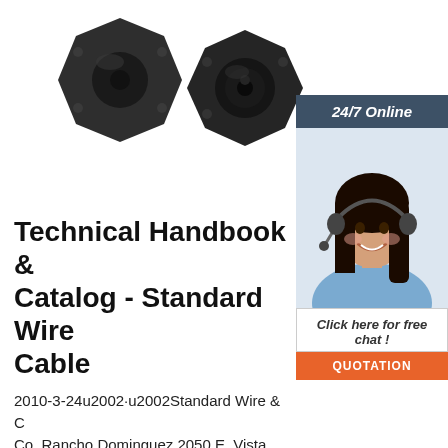[Figure (photo): Two black circular cable connector/grommet hardware pieces with mounting flanges, viewed from above, on white background]
[Figure (photo): Customer service representative woman with headset, smiling, in sidebar panel with '24/7 Online' header, 'Click here for free chat!' and 'QUOTATION' button]
Technical Handbook & Catalog - Standard Wire Cable
2010-3-24u2002·u2002Standard Wire & Cable Co. Rancho Dominguez 2050 E. Vista Bella Way, Rancho Dominguez, CA 90220 (310) 609-1811 (800) 326-0006 FAX: (310) 609-1862
Get Price